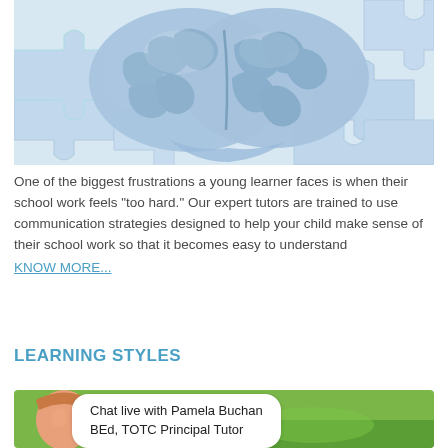[Figure (photo): Blue brain model resting on blue puzzle pieces, close-up photo with light blue color scheme]
One of the biggest frustrations a young learner faces is when their school work feels "too hard." Our expert tutors are trained to use communication strategies designed to help your child make sense of their school work so that it becomes easy to understand
KNOW MORE...
LEARNING STYLES
[Figure (photo): Photo of a person (Pamela Buchan) outdoors with a green background, with a chat bubble overlay reading 'Chat live with Pamela Buchan BEd, TOTC Principal Tutor']